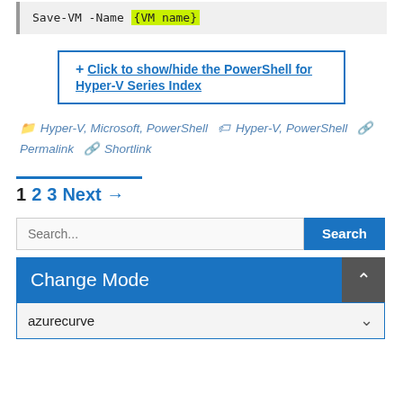Save-VM -Name {VM name}
+ Click to show/hide the PowerShell for Hyper-V Series Index
Hyper-V, Microsoft, PowerShell  Hyper-V, PowerShell  Permalink  Shortlink
1 2 3 Next →
Search...  Search
Change Mode
azurecurve